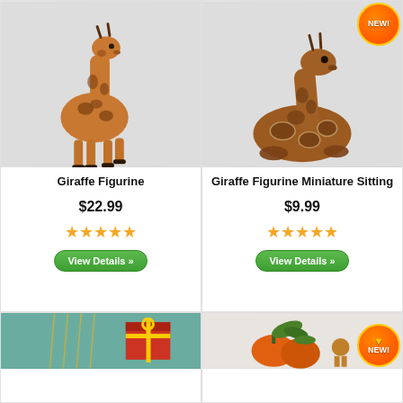[Figure (photo): Standing giraffe figurine product photo on light grey background]
Giraffe Figurine
$22.99
[Figure (other): 5-star rating icons]
View Details >>
[Figure (photo): Sitting giraffe miniature figurine product photo on light grey background, NEW badge top right]
Giraffe Figurine Miniature Sitting
$9.99
[Figure (other): 5-star rating icons]
View Details >>
[Figure (photo): Bottom left product image showing green gift with red ribbon on teal background]
[Figure (photo): Bottom right product image with NEW badge, showing vegetables/figurines on light background]